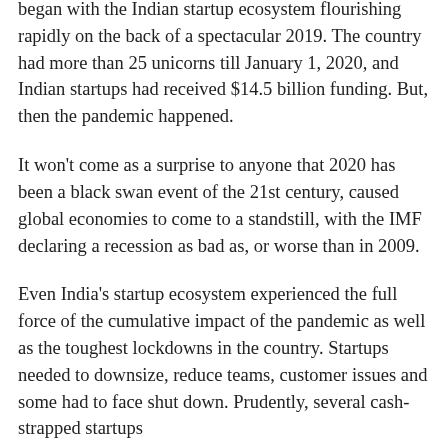began with the Indian startup ecosystem flourishing rapidly on the back of a spectacular 2019. The country had more than 25 unicorns till January 1, 2020, and Indian startups had received $14.5 billion funding. But, then the pandemic happened.
It won't come as a surprise to anyone that 2020 has been a black swan event of the 21st century, caused global economies to come to a standstill, with the IMF declaring a recession as bad as, or worse than in 2009.
Even India's startup ecosystem experienced the full force of the cumulative impact of the pandemic as well as the toughest lockdowns in the country. Startups needed to downsize, reduce teams, customer issues and some had to face shut down. Prudently, several cash-strapped startups